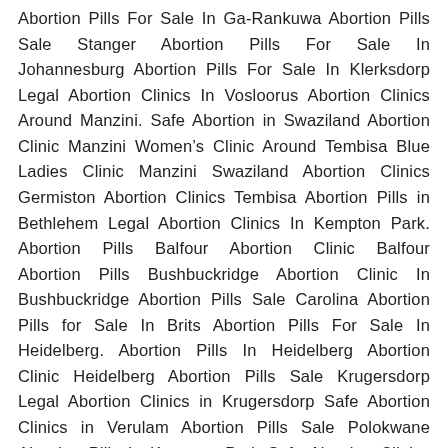Abortion Pills For Sale In Ga-Rankuwa Abortion Pills Sale Stanger Abortion Pills For Sale In Johannesburg Abortion Pills For Sale In Klerksdorp Legal Abortion Clinics In Vosloorus Abortion Clinics Around Manzini. Safe Abortion in Swaziland Abortion Clinic Manzini Women's Clinic Around Tembisa Blue Ladies Clinic Manzini Swaziland Abortion Clinics Germiston Abortion Clinics Tembisa Abortion Pills in Bethlehem Legal Abortion Clinics In Kempton Park. Abortion Pills Balfour Abortion Clinic Balfour Abortion Pills Bushbuckridge Abortion Clinic In Bushbuckridge Abortion Pills Sale Carolina Abortion Pills for Sale In Brits Abortion Pills For Sale In Heidelberg. Abortion Pills In Heidelberg Abortion Clinic Heidelberg Abortion Pills Sale Krugersdorp Legal Abortion Clinics in Krugersdorp Safe Abortion Clinics in Verulam Abortion Pills Sale Polokwane Abortion Pills In Kempton Park Safe Abortion Clinics In Kempton Park Legal Abortion Clinic In Marble Hall Abortion Pills Sale Marble Hall Abortion Clinic Groblersdal Abortion Pills In Middelburg Abortion Clinics Middelburg Mpumalanga Abortion Pills for Sale In Secunda Legal Abortion Clinics in Secunda Abortion Pills Sale Siyabuswa